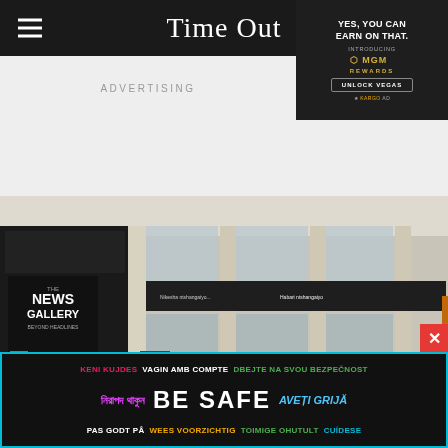Time Out
[Figure (other): MGM Rewards advertisement: YES. YOU CAN EARN ON THAT. INTRODUCING MGM REWARDS. UNLOCK VEGAS. KARGO AD]
ADVERTISING
[Figure (photo): Interior of The News Gallery museum exhibition space, showing large black signage with THE NEWS GALLERY BEYOND HEADLINES text, and text panels running along the upper mezzanine level of a modern building with glass walls.]
KENI KUJDES VAGIN AMB COMPTE DBEJTE NA SVOU BEZPEČNOST নিরাপদ থাকুন BE SAFE AVEȚI GRIJĂ PAS GODT PÅ WEES VOORZICHTIG TOIMIGE OHUTULT CUÍDESE